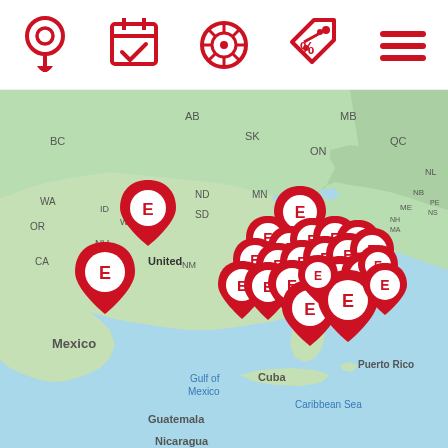[Figure (infographic): App navigation toolbar with 5 red icons: location pin, calendar with checkmark, tire/wheel, price tag with percent, hamburger menu]
[Figure (map): North America map showing multiple red 'E' branded location pins clustered heavily in the eastern and central United States, with a few in the western US. Map shows Canada, USA, Mexico, Cuba, Caribbean, Central America. Geographic labels visible: AB, MB, BC, SK, NL, NB, PE, NS, ME, WA, OR, CA, NV, MT, WY, ID, ND, SD, MN, WI, MI, ON, QC, MA, NH, NM, LA, FL, Gulf of Mexico, Mexico, Cuba, Puerto Rico, Guatemala, Caribbean Sea, Nicaragua. The text 'United' and 'TE' logo appear on the map in the US region.]